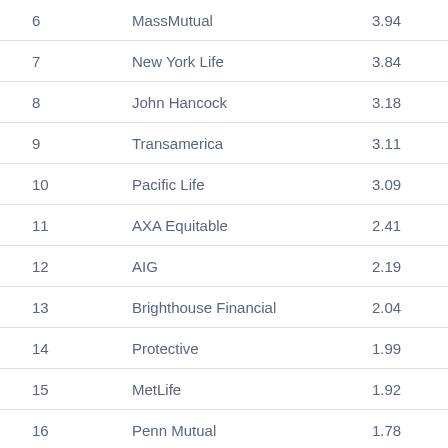| Rank | Company | Value |
| --- | --- | --- |
| 6 | MassMutual | 3.94 |
| 7 | New York Life | 3.84 |
| 8 | John Hancock | 3.18 |
| 9 | Transamerica | 3.11 |
| 10 | Pacific Life | 3.09 |
| 11 | AXA Equitable | 2.41 |
| 12 | AIG | 2.19 |
| 13 | Brighthouse Financial | 2.04 |
| 14 | Protective | 1.99 |
| 15 | MetLife | 1.92 |
| 16 | Penn Mutual | 1.78 |